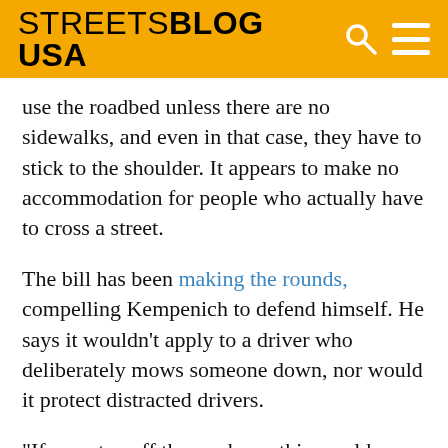STREETSBLOG USA
use the roadbed unless there are no sidewalks, and even in that case, they have to stick to the shoulder. It appears to make no accommodation for people who actually have to cross a street.
The bill has been making the rounds, compelling Kempenich to defend himself. He says it wouldn't apply to a driver who deliberately mows someone down, nor would it protect distracted drivers.
“If you stay off the roadway, this would never be an issue,” Kempenich told the Star Tribune.
But it’s hard to explain Kempenich’s bill except as an